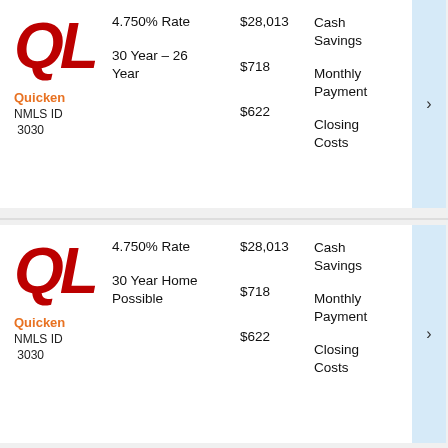[Figure (logo): Quicken Loans QL logo in red italic bold with orange 'Quicken' text and NMLS ID 3030 below]
4.750% Rate
30 Year – 26 Year
$28,013
$718
$622
Cash Savings
Monthly Payment
Closing Costs
[Figure (logo): Quicken Loans QL logo in red italic bold with orange 'Quicken' text and NMLS ID 3030 below]
4.750% Rate
30 Year Home Possible
$28,013
$718
$622
Cash Savings
Monthly Payment
Closing Costs